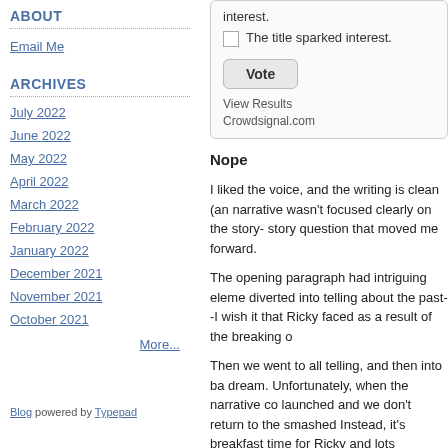ABOUT
Email Me
ARCHIVES
July 2022
June 2022
May 2022
April 2022
March 2022
February 2022
January 2022
December 2021
November 2021
October 2021
More...
Blog powered by Typepad
[Figure (other): Poll widget with checkbox 'The title sparked interest.' and a Vote button, View Results link, and Crowdsignal.com attribution]
Nope
I liked the voice, and the writing is clean (an narrative wasn't focused clearly on the story- story question that moved me forward.
The opening paragraph had intriguing eleme diverted into telling about the past--I wish it that Ricky faced as a result of the breaking o
Then we went to all telling, and then into ba dream. Unfortunately, when the narrative co launched and we don't return to the smashed Instead, it's breakfast time for Ricky and lots
Sounds like there's a story to be told, for sur that . . . Notes: